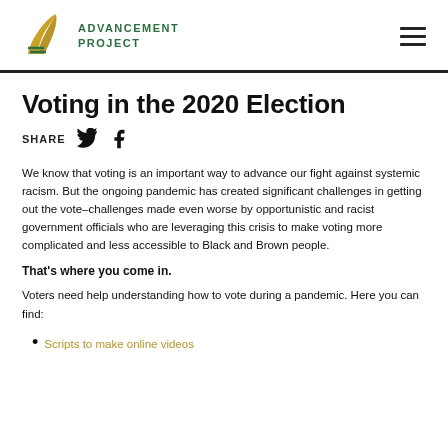Advancement Project
Voting in the 2020 Election
SHARE
We know that voting is an important way to advance our fight against systemic racism. But the ongoing pandemic has created significant challenges in getting out the vote–challenges made even worse by opportunistic and racist government officials who are leveraging this crisis to make voting more complicated and less accessible to Black and Brown people.
That's where you come in.
Voters need help understanding how to vote during a pandemic. Here you can find:
Scripts to make online videos